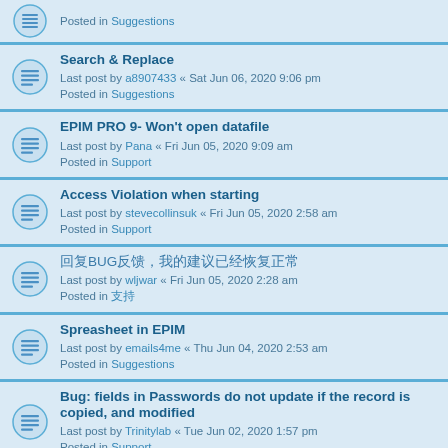Posted in Suggestions (partial, top row)
Search & Replace
Last post by a8907433 « Sat Jun 06, 2020 9:06 pm
Posted in Suggestions
EPIM PRO 9- Won't open datafile
Last post by Pana « Fri Jun 05, 2020 9:09 am
Posted in Support
Access Violation when starting
Last post by stevecollinsuk « Fri Jun 05, 2020 2:58 am
Posted in Support
回复BUG反馈，我的建议已经恢复正常
Last post by wljwar « Fri Jun 05, 2020 2:28 am
Posted in 支持
Spreasheet in EPIM
Last post by emails4me « Thu Jun 04, 2020 2:53 am
Posted in Suggestions
Bug: fields in Passwords do not update if the record is copied, and modified
Last post by Trinitylab « Tue Jun 02, 2020 1:57 pm
Posted in Support
Search found more than 1000 matches
1  2  3  4  5  ...  20  >
Jump to